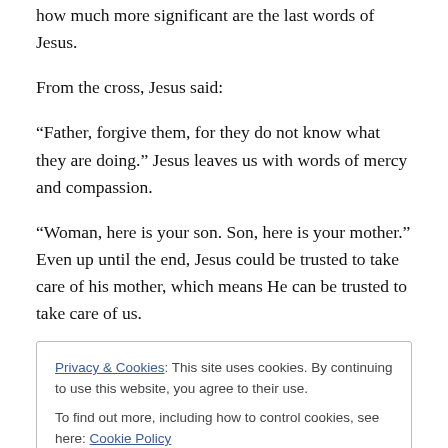how much more significant are the last words of Jesus.
From the cross, Jesus said:
“Father, forgive them, for they do not know what they are doing.” Jesus leaves us with words of mercy and compassion.
“Woman, here is your son. Son, here is your mother.” Even up until the end, Jesus could be trusted to take care of his mother, which means He can be trusted to take care of us.
Privacy & Cookies: This site uses cookies. By continuing to use this website, you agree to their use.
To find out more, including how to control cookies, see here: Cookie Policy
Close and accept